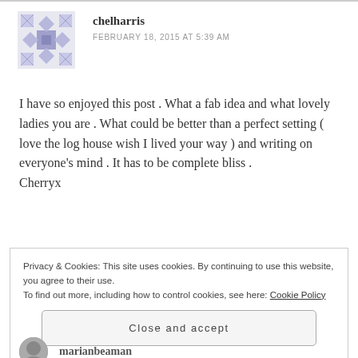[Figure (illustration): Purple/lavender geometric quilt-pattern avatar icon for user chelharris]
chelharris
FEBRUARY 18, 2015 AT 5:39 AM
I have so enjoyed this post . What a fab idea and what lovely ladies you are . What could be better than a perfect setting ( love the log house wish I lived your way ) and writing on everyone's mind . It has to be complete bliss .
Cherryx
Privacy & Cookies: This site uses cookies. By continuing to use this website, you agree to their use.
To find out more, including how to control cookies, see here: Cookie Policy
Close and accept
marianbeaman